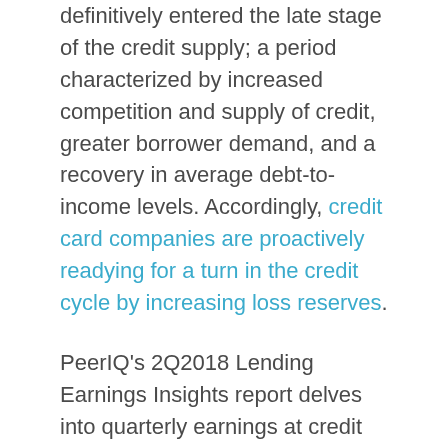definitively entered the late stage of the credit supply; a period characterized by increased competition and supply of credit, greater borrower demand, and a recovery in average debt-to-income levels. Accordingly, credit card companies are proactively readying for a turn in the credit cycle by increasing loss reserves.
PeerIQ's 2Q2018 Lending Earnings Insights report delves into quarterly earnings at credit card issuers, banks and fintech lenders. You can download the report here. PeerIQ is hosting a webinar summarizing insights from the "Lending